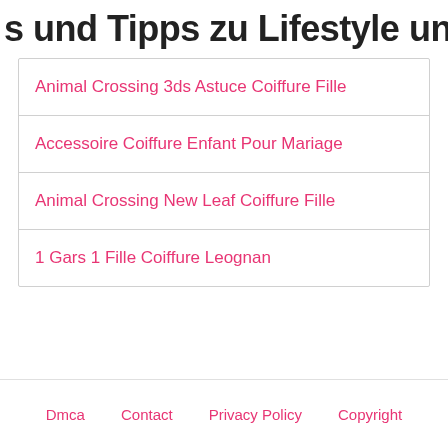s und Tipps zu Lifestyle und allen Di…
Animal Crossing 3ds Astuce Coiffure Fille
Accessoire Coiffure Enfant Pour Mariage
Animal Crossing New Leaf Coiffure Fille
1 Gars 1 Fille Coiffure Leognan
Dmca   Contact   Privacy Policy   Copyright